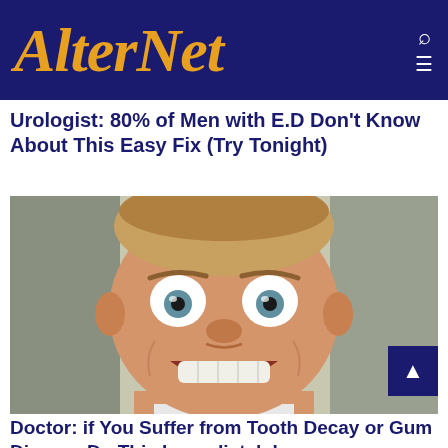AlterNet
Urologist: 80% of Men with E.D Don't Know About This Easy Fix (Try Tonight)
[Figure (photo): Close-up selfie photo of a man with wide eyes and a big grinning smile showing teeth, taken indoors.]
Doctor: if You Suffer from Tooth Decay or Gum Disease Do This Immediately!